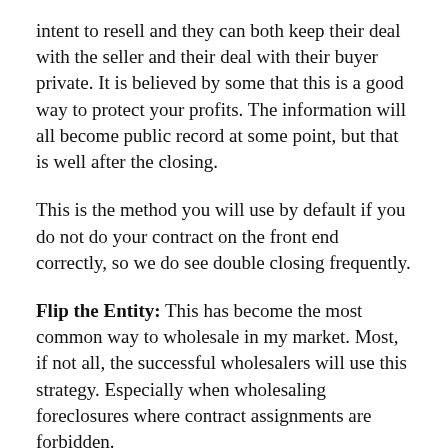intent to resell and they can both keep their deal with the seller and their deal with their buyer private. It is believed by some that this is a good way to protect your profits. The information will all become public record at some point, but that is well after the closing.
This is the method you will use by default if you do not do your contract on the front end correctly, so we do see double closing frequently.
Flip the Entity: This has become the most common way to wholesale in my market. Most, if not all, the successful wholesalers will use this strategy. Especially when wholesaling foreclosures where contract assignments are forbidden.
The way this works is the wholesaler will set up a corporate entity, like an LLC or a Trust, and put that